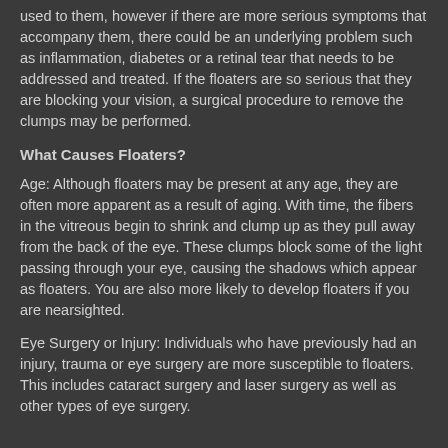used to them, however if there are more serious symptoms that accompany them, there could be an underlying problem such as inflammation, diabetes or a retinal tear that needs to be addressed and treated. If the floaters are so serious that they are blocking your vision, a surgical procedure to remove the clumps may be performed.
What Causes Floaters?
Age: Although floaters may be present at any age, they are often more apparent as a result of aging. With time, the fibers in the vitreous begin to shrink and clump up as they pull away from the back of the eye. These clumps block some of the light passing through your eye, causing the shadows which appear as floaters. You are also more likely to develop floaters if you are nearsighted.
Eye Surgery or Injury: Individuals who have previously had an injury, trauma or eye surgery are more susceptible to floaters. This includes cataract surgery and laser surgery as well as other types of eye surgery.